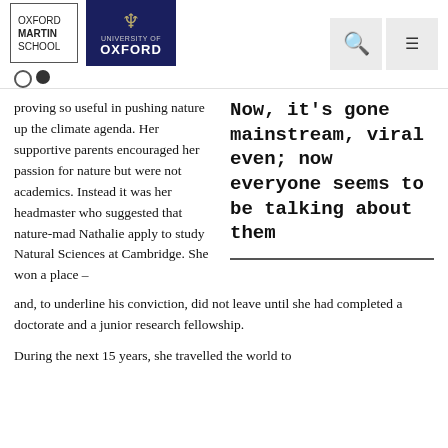[Figure (logo): Oxford Martin School and University of Oxford logos with navigation icons (search and hamburger menu)]
proving so useful in pushing nature up the climate agenda. Her supportive parents encouraged her passion for nature but were not academics. Instead it was her headmaster who suggested that nature-mad Nathalie apply to study Natural Sciences at Cambridge. She won a place – and, to underline his conviction, did not leave until she had completed a doctorate and a junior research fellowship.
Now, it's gone mainstream, viral even; now everyone seems to be talking about them
During the next 15 years, she travelled the world to